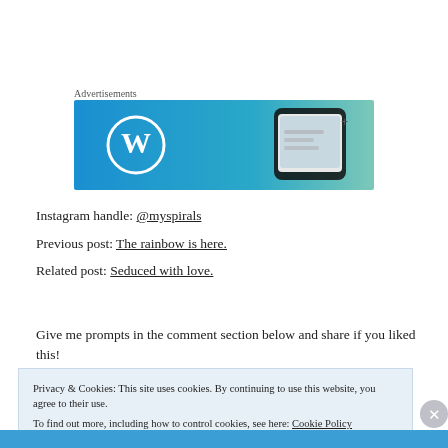Advertisements
[Figure (screenshot): WordPress advertisement banner with blue gradient background, WordPress logo on left and phone mockup on right]
Instagram handle: @myspirals
Previous post: The rainbow is here.
Related post: Seduced with love.
Give me prompts in the comment section below and share if you liked this!
Privacy & Cookies: This site uses cookies. By continuing to use this website, you agree to their use.
To find out more, including how to control cookies, see here: Cookie Policy
Close and accept